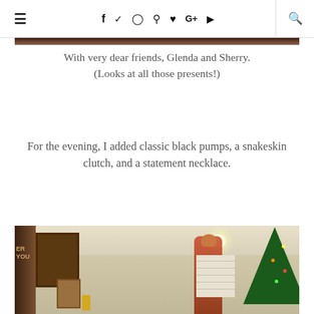≡  f  t  ⊙  p  ♥  G+  ▶  🔍
[Figure (photo): Top portion of a photo showing people at a Christmas gathering with presents]
With very dear friends, Glenda and Sherry.
(Looks at all those presents!)
For the evening, I added classic black pumps, a snakeskin clutch, and a statement necklace.
[Figure (photo): Woman in a room with a Christmas tree and framed artwork on the wall]